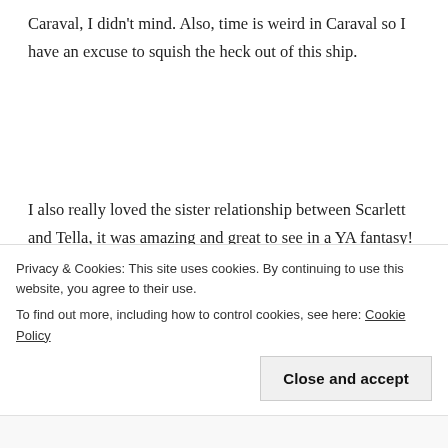Caraval, I didn't mind. Also, time is weird in Caraval so I have an excuse to squish the heck out of this ship.
I also really loved the sister relationship between Scarlett and Tella, it was amazing and great to see in a YA fantasy! A lot of the time we are TOLD how much Scarlett cares for Tella but we don't really see that in
Privacy & Cookies: This site uses cookies. By continuing to use this website, you agree to their use.
To find out more, including how to control cookies, see here: Cookie Policy
Close and accept